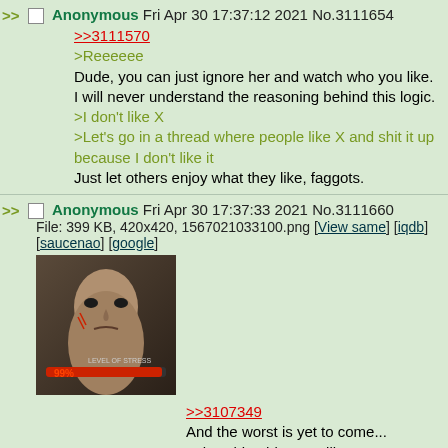Anonymous Fri Apr 30 17:37:12 2021 No.3111654
>>3111570
>Reeeeee
Dude, you can just ignore her and watch who you like.
I will never understand the reasoning behind this logic.
>I don't like X
>Let's go in a thread where people like X and shit it up because I don't like it
Just let others enjoy what they like, faggots.
Anonymous Fri Apr 30 17:37:33 2021 No.3111660
File: 399 KB, 420x420, 1567021033100.png [View same] [iqdb] [saucenao] [google]
[Figure (photo): Screenshot of a stressed video game character face with '99%' stress level indicator overlaid]
>>3107349
And the worst is yet to come... unless hiroshimoot wills to step up and take action upon us.
Anonymous Fri Apr 30 17:38:08 2021 No.3111672
File: 719 KB, 1080x8225, Screenshotted from a gook